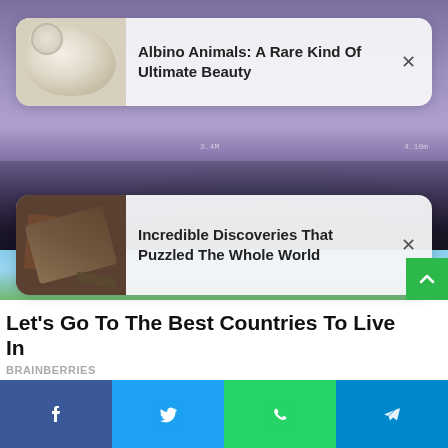[Figure (screenshot): Mobile screen showing cockpit instrument/purple sky background with two notification cards overlaid. Bottom shows article teaser, branding, and social share buttons.]
Albino Animals: A Rare Kind Of Ultimate Beauty
Incredible Discoveries That Puzzled The Whole World
Let's Go To The Best Countries To Live In
BRAINBERRIES